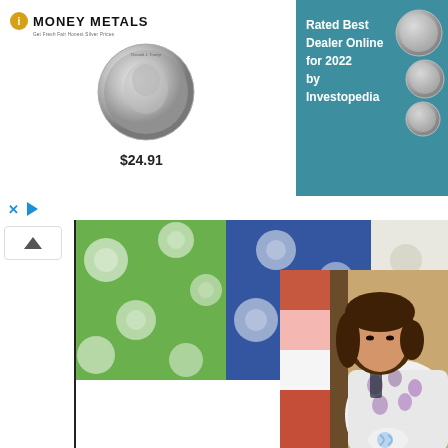[Figure (screenshot): Advertisement banner for Money Metals showing a Donald Trump commemorative silver coin priced at $24.91, with text 'Rated Best Dealer Online for 2022 by Investopedia' on a teal background with coin images]
[Figure (photo): Photo of a woman working with quilts/fabric pieces. Colorful quilted fabric panels visible in the upper portion (green, blue, white patterns), and a vertical quilt hanging with red, pink, gray hexagonal and floral patterns. A woman with dark brown hair wearing a floral/print blouse is seated at a table examining a small quilted piece.]